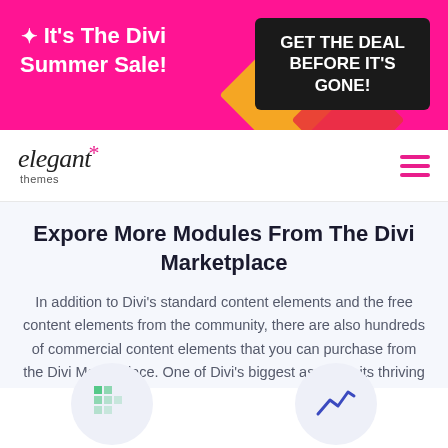[Figure (screenshot): Pink promotional banner with text 'It's The Divi Summer Sale!' and black button 'GET THE DEAL BEFORE IT'S GONE!']
[Figure (logo): Elegant Themes logo in italic serif font with a pink asterisk star and 'themes' in small text below]
Expore More Modules From The Divi Marketplace
In addition to Divi’s standard content elements and the free content elements from the community, there are also hundreds of commercial content elements that you can purchase from the Divi Marketplace. One of Divi’s biggest assets is its thriving ecosystem of commercial products, ensuring that there is always a solution for the type of website you are building.
[Figure (illustration): Two partial hexagon-shaped icon placeholders at bottom of page with small icons inside]